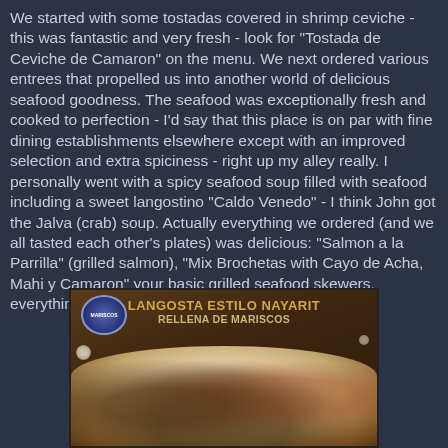We started with some tostadas covered in shrimp ceviche - this was fantastic and very fresh - look for "Tostada de Ceviche de Camaron" on the menu. We next ordered various entrees that propelled us into another world of delicious seafood goodness. The seafood was exceptionally fresh and cooked to perfection - I'd say that this place is on par with fine dining establishments elsewhere except with an improved selection and extra spiciness - right up my alley really. I personally went with a spicy seafood soup filled with seafood including a sweet langostino "Caldo Venedo" - I think John got the Jalva (crab) soup. Actually everything we ordered (and we all tasted each other's plates) was delicious: "Salmon a la Parrilla" (grilled salmon), "Mix Brochetas with Cayo de Acha, Mahi y Camaron" your basic grilled seafood skewers, everything was fantastic.
[Figure (photo): A restaurant menu board or display showing a dish called 'LANGOSTA ESTILO NAYARIT RELLENA DE MARISCOS' - a Nayarit-style lobster stuffed with seafood. The image shows a plated dish with lobster and various seafood items. There is a logo badge on the upper left of the board. Restaurant interior lighting is visible in the background.]